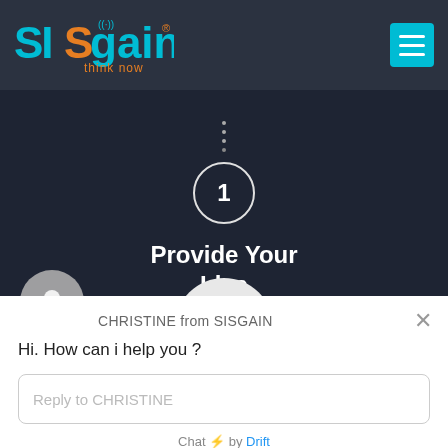[Figure (logo): SISGAIN logo with 'think now' tagline in teal and orange colors]
[Figure (screenshot): Step 1 infographic: circle with number 1, text 'Provide Your Idea' on dark background]
[Figure (screenshot): Chat widget showing CHRISTINE from SISGAIN with avatar, close button, greeting message, reply input box, and Drift branding]